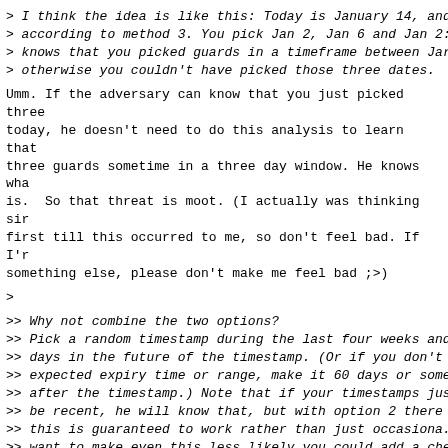> I think the idea is like this: Today is January 14, and
> according to method 3. You pick Jan 2, Jan 6 and Jan 2:
> knows that you picked guards in a timeframe between Jar
> otherwise you couldn't have picked those three dates.
Umm. If the adversary can know that you just picked three
today, he doesn't need to do this analysis to learn that
three guards sometime in a three day window. He knows wha
is.  So that threat is moot. (I actually was thinking sir
first till this occurred to me, so don't feel bad. If I'r
something else, please don't make me feel bad ;>)
>
>> Why not combine the two options?
>> Pick a random timestamp during the last four weeks and
>> days in the future of the timestamp. (Or if you don't
>> expected expiry time or range, make it 60 days or som
>> after the timestamp.) Note that if your timestamps jus
>> be recent, he will know that, but with option 2 there
>> this is guaranteed to work rather than just occasiona.
>> want to make even this less likely you could add a che
>> one timestamp must be more than some amount old and th
>> the third chosen guard's timestamp if none are old enc
>> again. Don't know if that seems to complex, and this :
>> your message and responding immediately. Might be prob
>> thought about it more.
>
> This scheme shares a similar problem: Today is Jan 28,
> Jan 12 and Jan 26. The attacker now knows that the time
> Feb 1